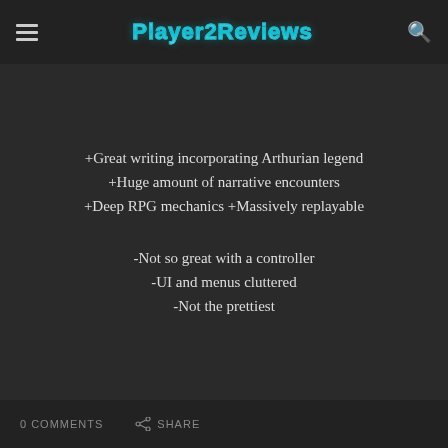Player2Reviews
+Great writing incorporating Arthurian legend
+Huge amount of narrative encounters
+Deep RPG mechanics +Massively replayable
-Not so great with a controller
-UI and menus cluttered
-Not the prettiest
0 COMMENTS   SHARE